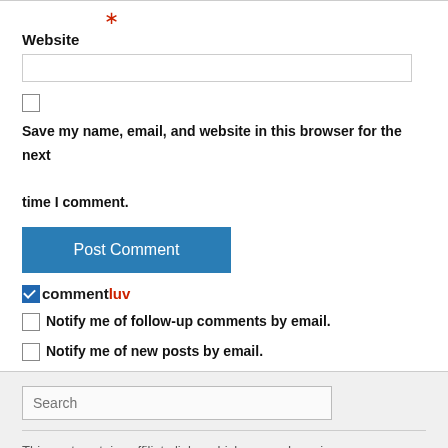*
Website
Save my name, email, and website in this browser for the next time I comment.
Post Comment
commentluv
Notify me of follow-up comments by email.
Notify me of new posts by email.
Search
This post contains affiliate links, which means I receive a